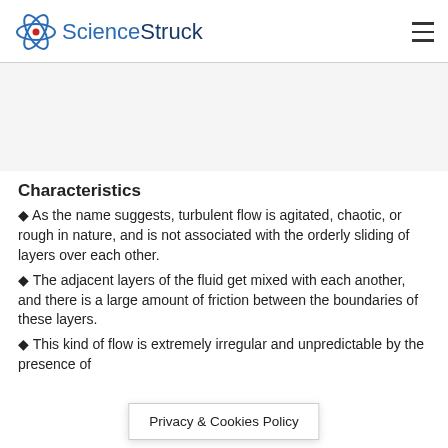ScienceStruck
Characteristics
As the name suggests, turbulent flow is agitated, chaotic, or rough in nature, and is not associated with the orderly sliding of layers over each other.
The adjacent layers of the fluid get mixed with each another, and there is a large amount of friction between the boundaries of these layers.
This kind of flow is extremely irregular and unpredictable by the presence of
Privacy & Cookies Policy